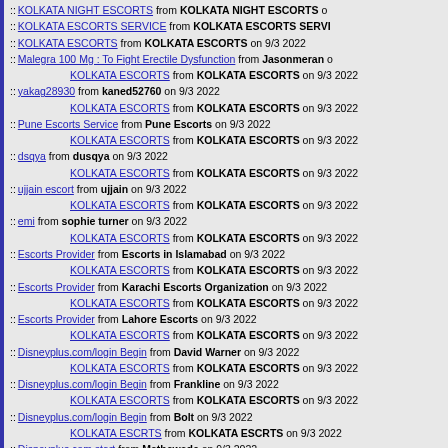:: KOLKATA NIGHT ESCORTS from KOLKATA NIGHT ESCORTS o
:: KOLKATA ESCORTS SERVICE from KOLKATA ESCORTS SERVI
:: KOLKATA ESCORTS from KOLKATA ESCORTS on 9/3 2022
:: Malegra 100 Mg : To Fight Erectile Dysfunction from Jasonmeran o
KOLKATA ESCORTS from KOLKATA ESCORTS on 9/3 2022
:: yakag28930 from kaned52760 on 9/3 2022
KOLKATA ESCORTS from KOLKATA ESCORTS on 9/3 2022
:: Pune Escorts Service from Pune Escorts on 9/3 2022
KOLKATA ESCORTS from KOLKATA ESCORTS on 9/3 2022
:: dsqya from dusqya on 9/3 2022
KOLKATA ESCORTS from KOLKATA ESCORTS on 9/3 2022
:: ujjain escort from ujjain on 9/3 2022
KOLKATA ESCORTS from KOLKATA ESCORTS on 9/3 2022
:: emi from sophie turner on 9/3 2022
KOLKATA ESCORTS from KOLKATA ESCORTS on 9/3 2022
:: Escorts Provider from Escorts in Islamabad on 9/3 2022
KOLKATA ESCORTS from KOLKATA ESCORTS on 9/3 2022
:: Escorts Provider from Karachi Escorts Organization on 9/3 2022
KOLKATA ESCORTS from KOLKATA ESCORTS on 9/3 2022
:: Escorts Provider from Lahore Escorts on 9/3 2022
KOLKATA ESCORTS from KOLKATA ESCORTS on 9/3 2022
:: Disneyplus.com/login Begin from David Warner on 9/3 2022
KOLKATA ESCORTS from KOLKATA ESCORTS on 9/3 2022
:: Disneyplus.com/login Begin from Frankline on 9/3 2022
KOLKATA ESCORTS from KOLKATA ESCORTS on 9/3 2022
:: Disneyplus.com/login Begin from Bolt on 9/3 2022
KOLKATA ESCRTS from KOLKATA ESCRTS on 9/3 2022
:: Disneyplus.com start from Mathewade on 9/3 2022
KOLKATA ESCORTS from KOLKATA ESCORTS on 9/3 2022
:: Disneyplus.com start from Adam Zampa on 9/3 2022
KOLKATA ESCORTS from KOLKATA ESCORTS on 9/3 2022